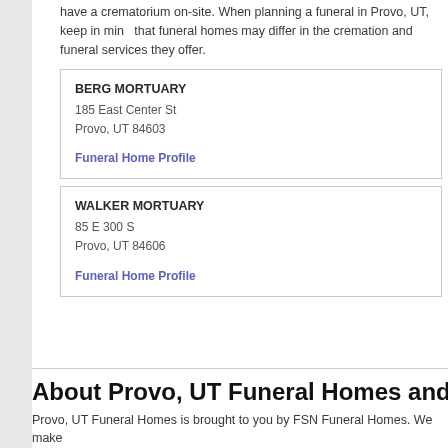have a crematorium on-site. When planning a funeral in Provo, UT, keep in mind that funeral homes may differ in the cremation and funeral services they offer.
BERG MORTUARY
185 East Center St
Provo, UT 84603
Funeral Home Profile
WALKER MORTUARY
85 E 300 S
Provo, UT 84606
Funeral Home Profile
About Provo, UT Funeral Homes and Mortuaries L
Provo, UT Funeral Homes is brought to you by FSN Funeral Homes. We make...